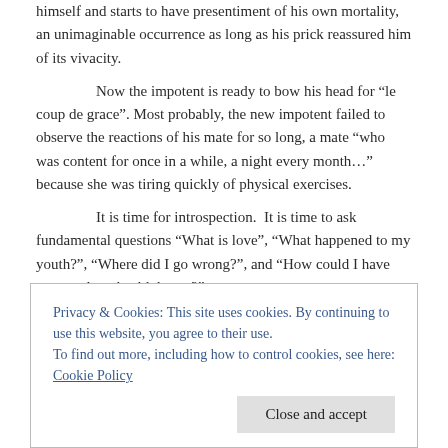himself and starts to have presentiment of his own mortality, an unimaginable occurrence as long as his prick reassured him of its vivacity.
Now the impotent is ready to bow his head for “le coup de grace”. Most probably, the new impotent failed to observe the reactions of his mate for so long, a mate “who was content for once in a while, a night every month…” because she was tiring quickly of physical exercises.
It is time for introspection. It is time to ask fundamental questions “What is love”, “What happened to my youth?”, “Where did I go wrong?”, and “How could I have managed my health better?”
There is this deep misconception that the act of sex is a re-
Privacy & Cookies: This site uses cookies. By continuing to use this website, you agree to their use.
To find out more, including how to control cookies, see here: Cookie Policy
Close and accept